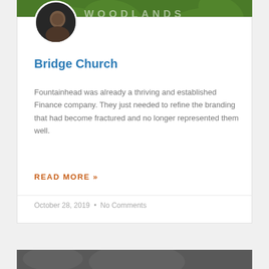WOODLANDS
[Figure (photo): Circular avatar photo of a man against dark background]
Bridge Church
Fountainhead was already a thriving and established Finance company. They just needed to refine the branding that had become fractured and no longer represented them well.
READ MORE »
October 28, 2019  •  No Comments